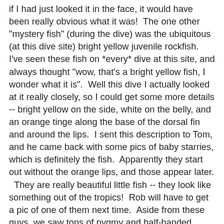if I had just looked it in the face, it would have been really obvious what it was!  The one other "mystery fish" (during the dive) was the ubiquitous (at this dive site) bright yellow juvenile rockfish.  I've seen these fish on *every* dive at this site, and always thought "wow, that's a bright yellow fish, I wonder what it is".  Well this dive I actually looked at it really closely, so I could get some more details -- bright yellow on the side, white on the belly, and an orange tinge along the base of the dorsal fin and around the lips.  I sent this description to Tom, and he came back with some pics of baby starries, which is definitely the fish.  Apparently they start out without the orange lips, and those appear later.  They are really beautiful little fish -- they look like something out of the tropics!  Rob will have to get a pic of one of them next time.  Aside from these guys, we saw tons of pygmy and half-banded juveniles, a few juvey yellow eyes, and adult squarespots, bocaccio, starries, mammoth vermilions, two wolf eels, lots of lings, plus the usual boring blues and olives.  And, drum-roll... 3 flaggies!  When we first got to the rock pile where we have seen the flaggies before, there were none to be found, but a bit later, on the other side of the rock pile, I found one.  Then after we left that spot and continued